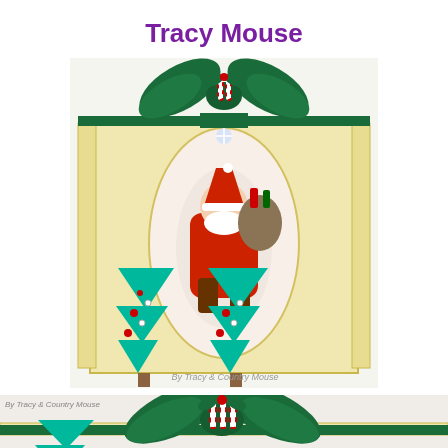Tracy Mouse
[Figure (photo): A Christmas gift box in cream/gold color with an oval window revealing a painted Santa Claus figurine carrying a sack of toys. The box is decorated with a large dark green satin ribbon bow at the top, along with candy cane and holly accents. At the bottom front of the box are two teal/turquoise Christmas tree cutouts decorated with red and white gem embellishments. Watermark reads 'By Tracy & Country Mouse'.]
[Figure (photo): A close-up partial view of the top of the same Christmas gift box, showing the dark green ribbon bow and candy cane/holly decoration details. Watermark reads 'By Tracy & Country Mouse'.]